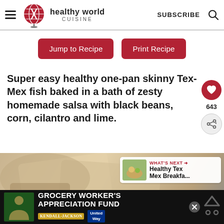[Figure (logo): Healthy World Cuisine logo with globe icon, brand name and CUISINE subtitle, plus hamburger menu, SUBSCRIBE text, and search icon in header]
[Figure (other): Two red rounded-rectangle buttons: 'Jump to Recipe' and 'Print Recipe']
Super easy healthy one-pan skinny Tex-Mex fish baked in a bath of zesty homemade salsa with black beans, corn, cilantro and lime.
[Figure (photo): Food photo showing baked Tex-Mex fish dish, partially visible, beige/tan tones. Overlay in top-right: 'WHAT'S NEXT → Healthy Tex Mex Breakfa...' with thumbnail. Like button (heart, 643) and share button on right side.]
[Figure (other): Black advertisement bar at bottom: 'GROCERY WORKER'S APPRECIATION FUND' with Kendall-Jackson and United Way logos, close button, and right-side channel icon]